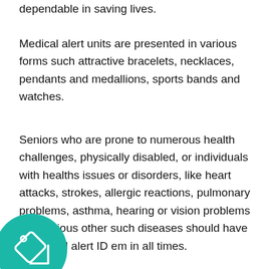dependable in saving lives.
Medical alert units are presented in various forms such attractive bracelets, necklaces, pendants and medallions, sports bands and watches.
Seniors who are prone to numerous health challenges, physically disabled, or individuals with healths issues or disorders, like heart attacks, strokes, allergic reactions, pulmonary problems, asthma, hearing or vision problems and various other such diseases should have a medical alert ID em in all times.
[Figure (illustration): Teal circular icon with a price tag / label symbol in white]